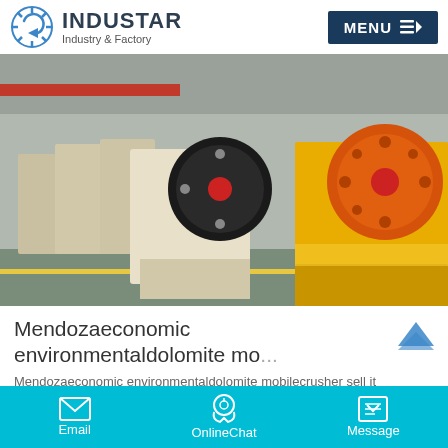[Figure (logo): Industar Industry & Factory logo with gear icon]
INDUSTAR - Industry & Factory
[Figure (photo): Industrial factory floor with multiple jaw crushers lined up, including white/beige and yellow machines with large black and orange flywheels]
Mendozaeconomic environmentaldolomite mo...
Mendozaeconomic environmentaldolomite mobilecrusher sell it
Email | OnlineChat | Message